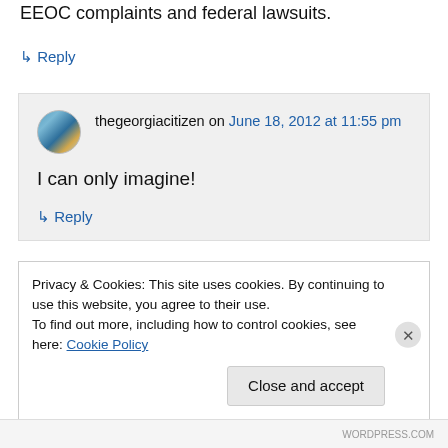EEOC complaints and federal lawsuits.
↳ Reply
thegeorgiacitizen on June 18, 2012 at 11:55 pm
I can only imagine!
↳ Reply
Privacy & Cookies: This site uses cookies. By continuing to use this website, you agree to their use. To find out more, including how to control cookies, see here: Cookie Policy
Close and accept